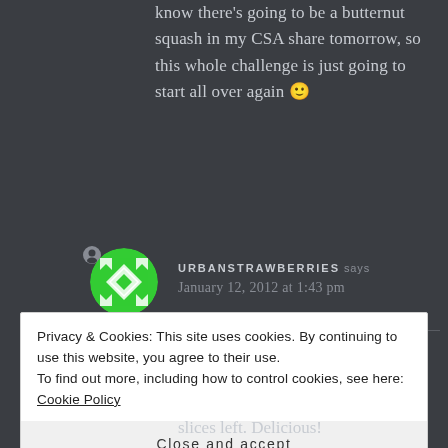know there's going to be a butternut squash in my CSA share tomorrow, so this whole challenge is just going to start all over again 🙂
URBANSTRAWBERRIES says
January 12, 2012 at 1:43 pm
Yes, I used half spaghetti squash
Privacy & Cookies: This site uses cookies. By continuing to use this website, you agree to their use.
To find out more, including how to control cookies, see here: Cookie Policy
Close and accept
slices left. Delicious!